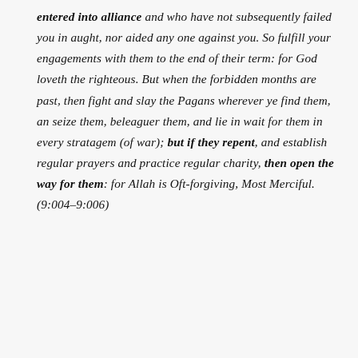entered into alliance and who have not subsequently failed you in aught, nor aided any one against you. So fulfill your engagements with them to the end of their term: for God loveth the righteous. But when the forbidden months are past, then fight and slay the Pagans wherever ye find them, an seize them, beleaguer them, and lie in wait for them in every stratagem (of war); but if they repent, and establish regular prayers and practice regular charity, then open the way for them: for Allah is Oft-forgiving, Most Merciful. (9:004–9:006)